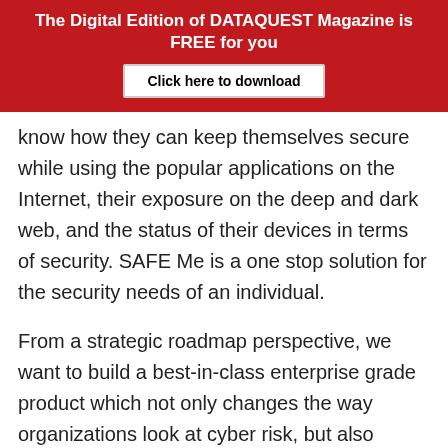The Digital Edition of DATAQUEST Magazine is FREE for you
Click here to download
know how they can keep themselves secure while using the popular applications on the Internet, their exposure on the deep and dark web, and the status of their devices in terms of security. SAFE Me is a one stop solution for the security needs of an individual.
From a strategic roadmap perspective, we want to build a best-in-class enterprise grade product which not only changes the way organizations look at cyber risk, but also provides prioritized actionable insights that will help the security and risk management teams improve the organization's cyber risk posture. To do this, we will be laser